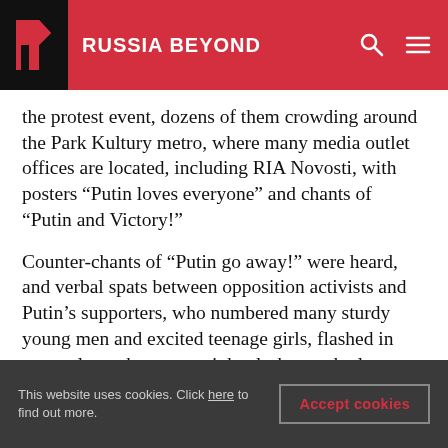RUSSIA BEYOND
the protest event, dozens of them crowding around the Park Kultury metro, where many media outlet offices are located, including RIA Novosti, with posters “Putin loves everyone” and chants of “Putin and Victory!”
Counter-chants of “Putin go away!” were heard, and verbal spats between opposition activists and Putin’s supporters, who numbered many sturdy young men and excited teenage girls, flashed in some places, but no outright clashes took place.
This website uses cookies. Click here to find out more. Accept cookies